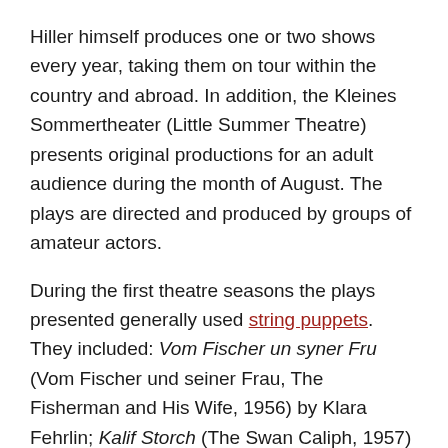Hiller himself produces one or two shows every year, taking them on tour within the country and abroad. In addition, the Kleines Sommertheater (Little Summer Theatre) presents original productions for an adult audience during the month of August. The plays are directed and produced by groups of amateur actors.
During the first theatre seasons the plays presented generally used string puppets. They included: Vom Fischer un syner Fru (Vom Fischer und seiner Frau, The Fisherman and His Wife, 1956) by Klara Fehrlin; Kalif Storch (The Swan Caliph, 1957) by Magda Werder; and Der Kreidekreis (The Chalk Circle, 1969) by Wilhelm Preetorius. But the theatre also produced many plays using glove puppets, including D'Lismerhex (The Witch of Lismer Who Knits) by Ursula Hiller, Vogel Gryff (The Griffon) by Jörg Widmer, and Wilhelm Busch Programm (The Wilhelm Busch Programme) by Rudolf Stössel. Later they also worked